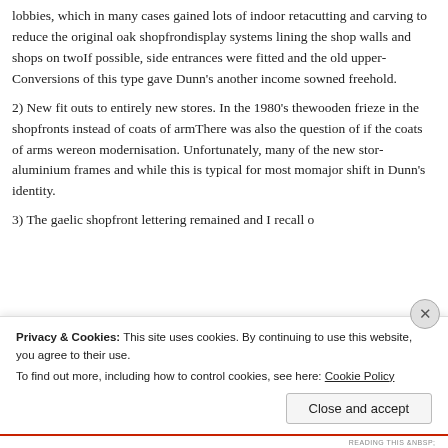lobbies, which in many cases gained lots of indoor retail space by cutting and carving to reduce the original oak shopfront display systems lining the shop walls and shops on two floors. If possible, side entrances were fitted and the old upper floor… Conversions of this type gave Dunn's another income stream on owned freehold.
2) New fit outs to entirely new stores. In the 1980's there was a wooden frieze in the shopfronts instead of coats of arms. There was also the question of if the coats of arms were suitable on modernisation. Unfortunately, many of the new stores had aluminium frames and while this is typical for most modern shops, major shift in Dunn's identity.
3) The gaelic shopfront lettering remained and I recall early…
Privacy & Cookies: This site uses cookies. By continuing to use this website, you agree to their use.
To find out more, including how to control cookies, see here: Cookie Policy
Close and accept